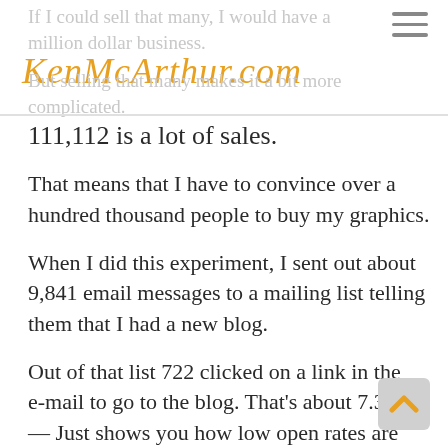If I could sell that many, I would have a million dollar business.
[Figure (logo): KenMcArthur.com logo in orange handwritten/script style font]
But selling that many makes it a bit more complicated.
111,112 is a lot of sales.
That means that I have to convince over a hundred thousand people to buy my graphics.
When I did this experiment, I sent out about 9,841 email messages to a mailing list telling them that I had a new blog.
Out of that list 722 clicked on a link in the e-mail to go to the blog. That's about 7.3% — Just shows you how low open rates are these